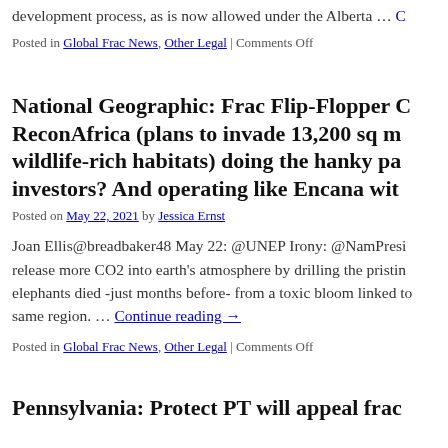development process, as is now allowed under the Alberta … C
Posted in Global Frac News, Other Legal | Comments Off
National Geographic: Frac Flip-Flopper C ReconAfrica (plans to invade 13,200 sq m wildlife-rich habitats) doing the hanky pa investors? And operating like Encana wit
Posted on May 22, 2021 by Jessica Ernst
Joan Ellis@breadbaker48 May 22: @UNEP Irony: @NamPresi release more CO2 into earth's atmosphere by drilling the pristin elephants died -just months before- from a toxic bloom linked to same region. … Continue reading →
Posted in Global Frac News, Other Legal | Comments Off
Pennsylvania: Protect PT will appeal frac